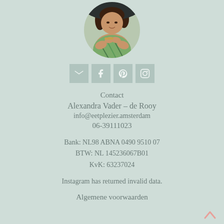[Figure (photo): Circular profile photo of a woman in a patterned top]
[Figure (infographic): Row of four social media icon squares: email, Facebook, Pinterest, Instagram]
Contact
Alexandra Vader – de Rooy
info@eetplezier.amsterdam
06-39111023
Bank: NL98 ABNA 0490 9510 07
BTW: NL 145236067B01
KvK: 63237024
Instagram has returned invalid data.
Algemene voorwaarden